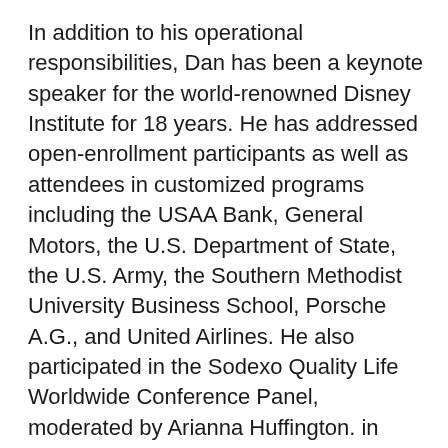In addition to his operational responsibilities, Dan has been a keynote speaker for the world-renowned Disney Institute for 18 years. He has addressed open-enrollment participants as well as attendees in customized programs including the USAA Bank, General Motors, the U.S. Department of State, the U.S. Army, the Southern Methodist University Business School, Porsche A.G., and United Airlines. He also participated in the Sodexo Quality Life Worldwide Conference Panel, moderated by Arianna Huffington. in 2015.
Dan started his own company in May 2018 and currently travels the world for consulting and speaking engagements where he advocates his people-first leadership